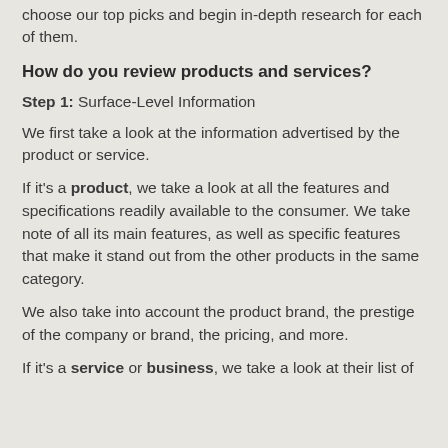choose our top picks and begin in-depth research for each of them.
How do you review products and services?
Step 1: Surface-Level Information
We first take a look at the information advertised by the product or service.
If it's a product, we take a look at all the features and specifications readily available to the consumer. We take note of all its main features, as well as specific features that make it stand out from the other products in the same category.
We also take into account the product brand, the prestige of the company or brand, the pricing, and more.
If it's a service or business, we take a look at their list of